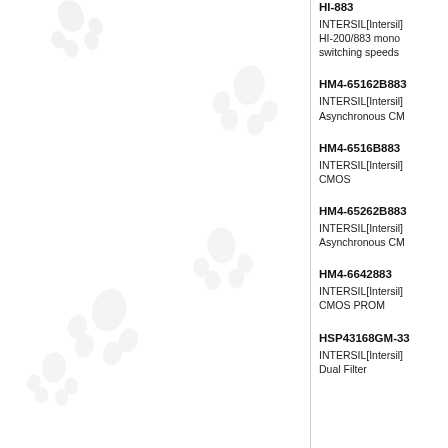[Figure (illustration): Decorative paw print watermarks on left panel background]
HI-883
INTERSIL[Intersil] HI-200/883 mono switching speeds
HM4-65162B883
INTERSIL[Intersil] Asynchronous CM
HM4-6516B883
INTERSIL[Intersil] CMOS
HM4-65262B883
INTERSIL[Intersil] Asynchronous CM
HM4-6642883
INTERSIL[Intersil] CMOS PROM
HSP43168GM-33
INTERSIL[Intersil] Dual Filter